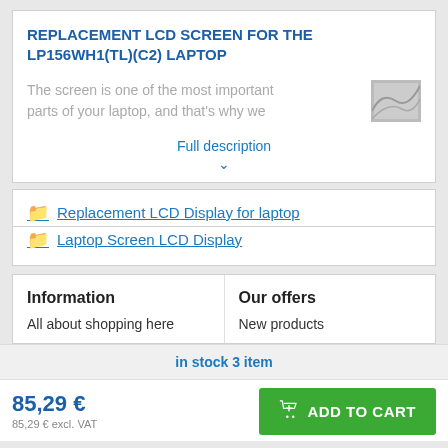REPLACEMENT LCD SCREEN FOR THE LP156WH1(TL)(C2) LAPTOP
The screen is one of the most important parts of your laptop, and that's why we
Full description
Replacement LCD Display for laptop
Laptop Screen LCD Display
| Information | Our offers |
| --- | --- |
| All about shopping here | New products |
in stock 3 item
85,29 €
85,29 € excl. VAT